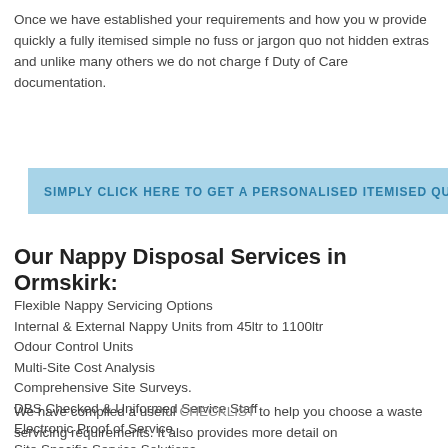Once we have established your requirements and how you w provide quickly a fully itemised simple no fuss or jargon quo not hidden extras and unlike many others we do not charge f Duty of Care documentation.
SIMPLY CLICK HERE TO GET A PERSONALISED ITEMISED QU
Our Nappy Disposal Services in Ormskirk:
Flexible Nappy Servicing Options
Internal & External Nappy Units from 45ltr to 1100ltr
Odour Control Units
Multi-Site Cost Analysis
Comprehensive Site Surveys.
DBS Checked & Uniformed Service Staff
Electronic Proof of Service
Site Specific Service Solutions
We have compiled a useful CHECKLIST to help you choose a waste servicing requirements. It also provides more detail on